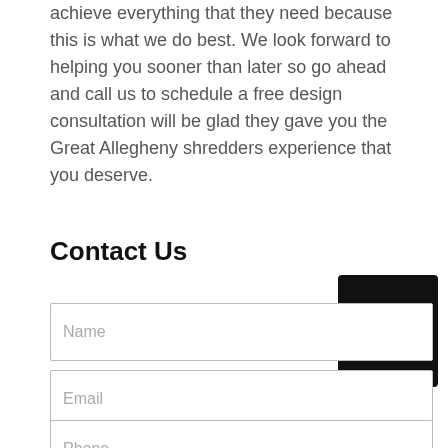achieve everything that they need because this is what we do best. We look forward to helping you sooner than later so go ahead and call us to schedule a free design consultation will be glad they gave you the Great Allegheny shredders experience that you deserve.
Contact Us
Name
Email
Phone